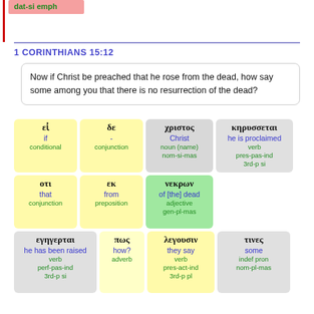dat-si emph
1 CORINTHIANS 15:12
Now if Christ be preached that he rose from the dead, how say some among you that there is no resurrection of the dead?
| εἰ
if
conditional | δε
-
conjunction | χριστος
Christ
noun (name)
nom-si-mas | κηρυσσεται
he is proclaimed
verb
pres-pas-ind
3rd-p si |
| οτι
that
conjunction | εκ
from
preposition | νεκρων
of [the] dead
adjective
gen-pl-mas |  |
| εγηγερται
he has been raised
verb
perf-pas-ind
3rd-p si | πως
how?
adverb | λεγουσιν
they say
verb
pres-act-ind
3rd-p pl | τινες
some
indef pron
nom-pl-mas |